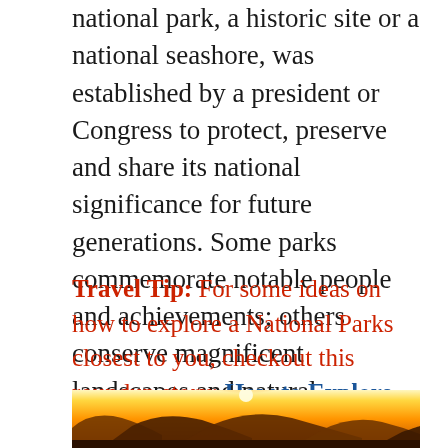national park, a historic site or a national seashore, was established by a president or Congress to protect, preserve and share its national significance for future generations. Some parks commemorate notable people and achievements; others conserve magnificent landscapes and natural wonders; and all provide a place to have fun and learn.
Travel Tip: For some ideas on how to explore a National Parks closest to you, checkout this roundup story: How to Explore US National Parks: Solid Advice from Seasoned Family Travel Bloggers.
[Figure (photo): Sunset behind mountain silhouettes with golden orange sky gradient]